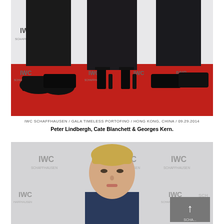[Figure (photo): Bottom halves and feet of three people standing on a red carpet in front of IWC Schaffhausen branded backdrop. The person on the left wears dark trousers and black dress shoes. The person in the middle wears a long dark dress and black heeled sandals. The person on the right wears dark trousers and black dress shoes.]
IWC SCHAFFHAUSEN / GALA TIMELESS PORTOFINO / HONG KONG, CHINA / 09.29.2014
Peter Lindbergh, Cate Blanchett & Georges Kern.
[Figure (photo): A blonde woman with her hair pulled back, wearing a dark navy outfit, photographed from shoulders up against a repeating IWC Schaffhausen branded backdrop. A scroll-to-top button is visible in the lower right.]